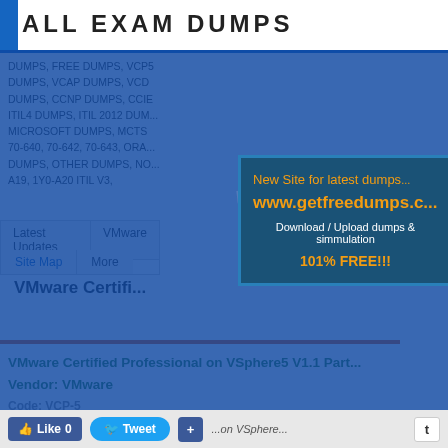ALL EXAM DUMPS
DUMPS, FREE DUMPS, VCP5 DUMPS, VCAP DUMPS, VCDX DUMPS, CCNP DUMPS, CCIE DUMPS, ITIL4 DUMPS, ITIL 2012 DUMPS, MICROSOFT DUMPS, MCTS DUMPS, 70-640, 70-642, 70-643, ORACLE DUMPS, OTHER DUMPS, NO... A19, 1Y0-A20 ITIL V3,
Latest Updates
VMware
Site Map
More
VMware Certifi...
[Figure (infographic): Blue overlay popup advertising getfreedumps.com with text: New Site for latest dumps, www.getfreedumps.com, Download / Upload dumps & simmulation, 101% FREE!!!]
VMware Certified Professional on VSphere5 V1.1 Part... Vendor: VMware
Like 0  Tweet  +  t